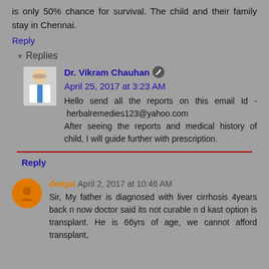is only 50% chance for survival. The child and their family stay in Chennai.
Reply
Replies
Dr. Vikram Chauhan April 25, 2017 at 3:23 AM
Hello send all the reports on this email Id - herbalremedies123@yahoo.com
After seeing the reports and medical history of child, I will guide further with prescription.
Reply
deepa April 2, 2017 at 10:46 AM
Sir, My father is diagnosed with liver cirrhosis 4years back n now doctor said its not curable n d kast option is transplant. He is 66yrs of age, we cannot afford transplant,